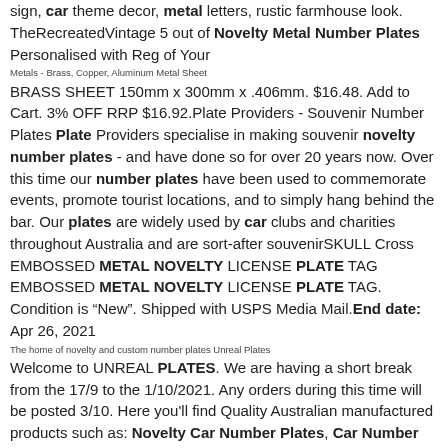sign, car theme decor, metal letters, rustic farmhouse look. TheRecreatedVintage 5 out of Novelty Metal Number Plates Personalised with Reg of Your
Metals - Brass, Copper, Aluminum Metal Sheet
BRASS SHEET 150mm x 300mm x .406mm. $16.48. Add to Cart. 3% OFF RRP $16.92.Plate Providers - Souvenir Number Plates Plate Providers specialise in making souvenir novelty number plates - and have done so for over 20 years now. Over this time our number plates have been used to commemorate events, promote tourist locations, and to simply hang behind the bar. Our plates are widely used by car clubs and charities throughout Australia and are sort-after souvenirSKULL Cross EMBOSSED METAL NOVELTY LICENSE PLATE TAG EMBOSSED METAL NOVELTY LICENSE PLATE TAG. Condition is "New". Shipped with USPS Media Mail.End date: Apr 26, 2021
The home of novelty and custom number plates Unreal Plates
Welcome to UNREAL PLATES. We are having a short break from the 17/9 to the 1/10/2021. Any orders during this time will be posted 3/10. Here you'll find Quality Australian manufactured products such as: Novelty Car Number Plates, Car Number Plate Frames, Decals and more. Our Australian number plates are made from quality aluminium. That's UNREAL!Custom Number Plates Custom Frames Stock Frames Graphic Plates AutomotiveUK Metal Plates - high quality, road-legal, metal number UK Road-Legal. We guarantee that all plates we produce are fully compliant with number plate regulations. Top Ratings. We